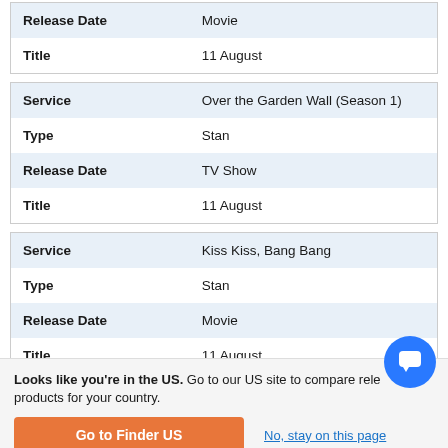| Release Date | Movie |
| Title | 11 August |
| Service | Over the Garden Wall (Season 1) |
| Type | Stan |
| Release Date | TV Show |
| Title | 11 August |
| Service | Kiss Kiss, Bang Bang |
| Type | Stan |
| Release Date | Movie |
| Title | 11 August |
Looks like you're in the US. Go to our US site to compare rele... products for your country.